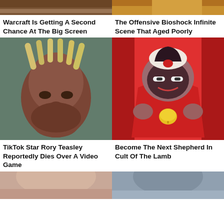[Figure (photo): Top partial image left - cropped person photo with brown tones]
[Figure (photo): Top partial image right - cropped image with golden/yellow tones]
Warcraft Is Getting A Second Chance At The Big Screen
The Offensive Bioshock Infinite Scene That Aged Poorly
[Figure (photo): Portrait photo of TikTok star Rory Teasley, a young Black man with blonde dreadlocks]
[Figure (illustration): Cartoon character from Cult of the Lamb - a cute creature with dark mask-like face, red cape, and golden bell, posed with arms spread]
TikTok Star Rory Teasley Reportedly Dies Over A Video Game
Become The Next Shepherd In Cult Of The Lamb
[Figure (photo): Partial bottom image left - person with reddish-brown hair, cropped]
[Figure (photo): Partial bottom image right - person with dark hair, cropped]